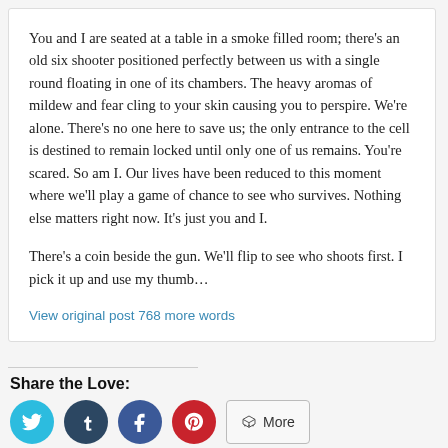You and I are seated at a table in a smoke filled room; there's an old six shooter positioned perfectly between us with a single round floating in one of its chambers. The heavy aromas of mildew and fear cling to your skin causing you to perspire. We're alone. There's no one here to save us; the only entrance to the cell is destined to remain locked until only one of us remains. You're scared. So am I. Our lives have been reduced to this moment where we'll play a game of chance to see who survives. Nothing else matters right now. It's just you and I.
There's a coin beside the gun. We'll flip to see who shoots first. I pick it up and use my thumb…
View original post 768 more words
Share the Love:
[Figure (other): Social sharing buttons: Twitter (cyan), Tumblr (dark blue), Facebook (blue), Pinterest (red), and a More button]